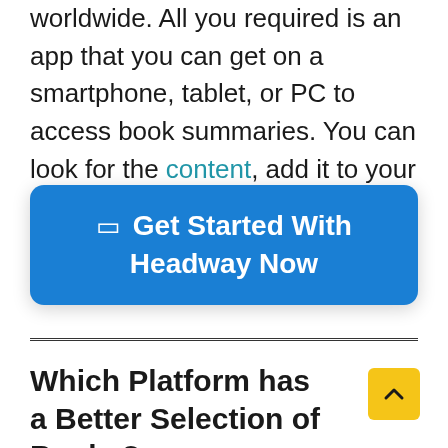worldwide. All you required is an app that you can get on a smartphone, tablet, or PC to access book summaries. You can look for the content, add it to your library, and start reading right away!
[Figure (other): Blue rounded button with white bold text: □ Get Started With Headway Now]
Which Platform has a Better Selection of Books?